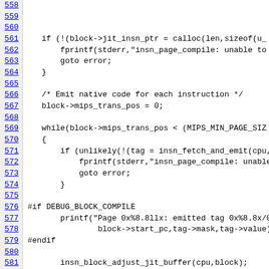Code listing lines 558-581 showing C source code for insn_page_compile function
558: (partial line)
559: (blank)
560: (blank)
561:     if (!(block->jit_insn_ptr = calloc(len,sizeof(u_
562:         fprintf(stderr,"insn_page_compile: unable to
563:         goto error;
564:     }
565: (blank)
566:     /* Emit native code for each instruction */
567:     block->mips_trans_pos = 0;
568: (blank)
569:     while(block->mips_trans_pos < (MIPS_MIN_PAGE_SIZ
570:     {
571:         if (unlikely(!(tag = insn_fetch_and_emit(cpu,
572:             fprintf(stderr,"insn_page_compile: unable
573:             goto error;
574:         }
575: (blank)
576: #if DEBUG_BLOCK_COMPILE
577:         printf("Page 0x%8.8llx: emitted tag 0x%8.8x/0
578:                 block->start_pc,tag->mask,tag->value);
579: #endif
580: (blank)
581:         insn_block_adjust_jit_buffer(cpu,block);